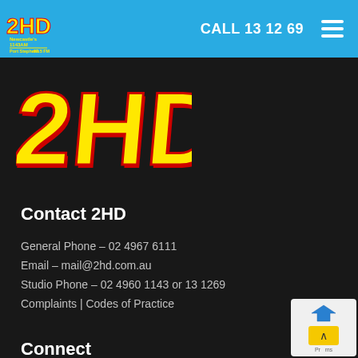2HD Newcastle's 1143AM Port Stephens 97.5FM — CALL 13 12 69
[Figure (logo): 2HD radio station logo in yellow and red script on blue background, with text Newcastle's 1143AM Port Stephens 97.5 FM]
Contact 2HD
General Phone – 02 4967 6111
Email – mail@2hd.com.au
Studio Phone – 02 4960 1143 or 13 1269
Complaints | Codes of Practice
Connect